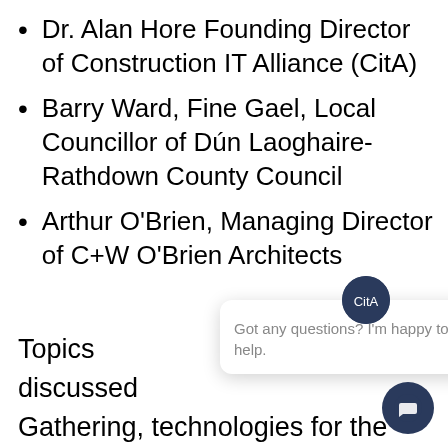Dr. Alan Hore Founding Director of Construction IT Alliance (CitA)
Barry Ward, Fine Gael, Local Councillor of Dún Laoghaire-Rathdown County Council
Arthur O'Brien, Managing Director of C+W O'Brien Architects
Topics discussed at the Gathering, technologies for the construction industry, the local planning process, public consultation and the role of An Bord Pleanala for fast-track